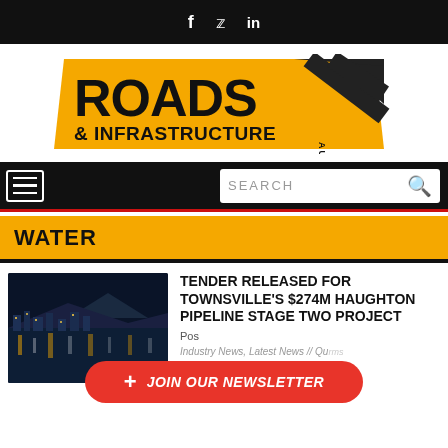f  ⓣ  in
[Figure (logo): Roads & Infrastructure Australia logo — yellow background with diagonal black stripes, bold black text]
≡   SEARCH 🔍
WATER
[Figure (photo): Night cityscape of Townsville waterfront with lights reflected in water and mountain in background]
TENDER RELEASED FOR TOWNSVILLE'S $274M HAUGHTON PIPELINE STAGE TWO PROJECT
Posted ...
Industry News, Latest News // Qu...rms
+ JOIN OUR NEWSLETTER